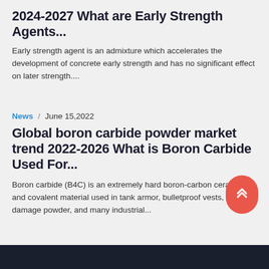2024-2027 What are Early Strength Agents...
Early strength agent is an admixture which accelerates the development of concrete early strength and has no significant effect on later strength....
News / June 15,2022
Global boron carbide powder market trend 2022-2026 What is Boron Carbide Used For...
Boron carbide (B4C) is an extremely hard boron-carbon ceramic and covalent material used in tank armor, bulletproof vests, engine damage powder, and many industrial...